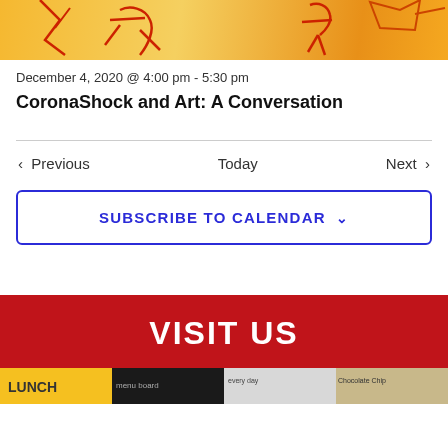[Figure (illustration): Abstract colorful artwork with orange/yellow background and red line figure illustrations]
December 4, 2020 @ 4:00 pm - 5:30 pm
CoronaShock and Art: A Conversation
Previous   Today   Next
SUBSCRIBE TO CALENDAR
VISIT US
[Figure (photo): Bottom strip of food/restaurant images including LUNCH sign, chalkboard menu, everyday text, and Chocolate Chip label]